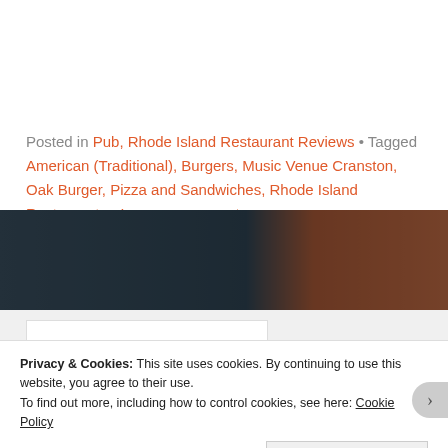Posted in Pub, Rhode Island Restaurant Reviews • Tagged American (Traditional), Burgers, Music Venue Cranston, Oak Burger, Pizza and Sandwiches, Rhode Island Restaurants • Leave a comment
[Figure (photo): Wide photo strip showing dark teal/charcoal background on the left and orange warm-toned image on the right, likely a restaurant or food scene.]
[Figure (photo): Thumbnail image in a white box showing a diagonal pen or pencil with a green tip against a white background.]
Privacy & Cookies: This site uses cookies. By continuing to use this website, you agree to their use. To find out more, including how to control cookies, see here: Cookie Policy
Close and accept